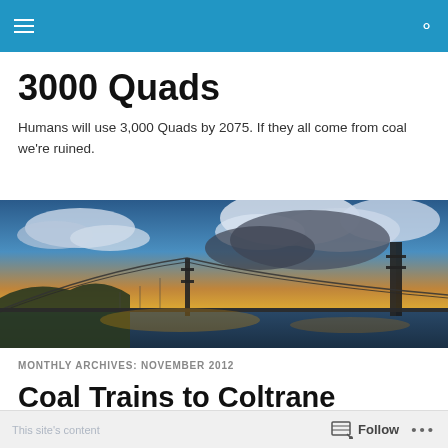3000 Quads — navigation bar
3000 Quads
Humans will use 3,000 Quads by 2075. If they all come from coal we're ruined.
[Figure (photo): Panoramic photo of a suspension bridge at sunset with dramatic clouds and golden/blue sky over water]
MONTHLY ARCHIVES: NOVEMBER 2012
Coal Trains to Coltrane
Follow  •••